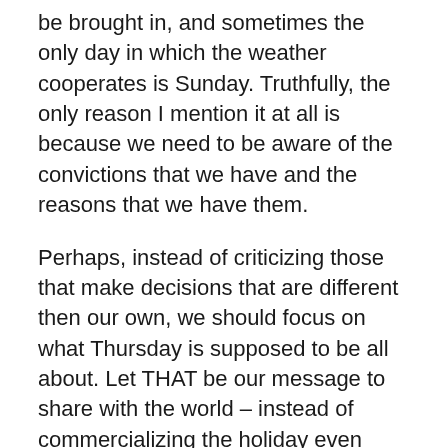be brought in, and sometimes the only day in which the weather cooperates is Sunday. Truthfully, the only reason I mention it at all is because we need to be aware of the convictions that we have and the reasons that we have them.
Perhaps, instead of criticizing those that make decisions that are different then our own, we should focus on what Thursday is supposed to be all about. Let THAT be our message to share with the world – instead of commercializing the holiday even more.
First of all, why is it that we need one day out of the year to get our families together and give thanks for the gifts we've been blessed with? Is this not something we should be doing at a minimum of at least once a day? If not almost every minute of the day? I don't believe that there